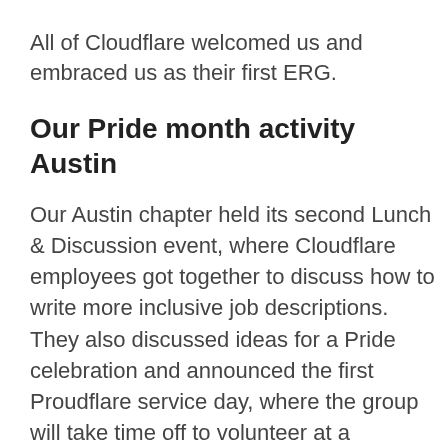All of Cloudflare welcomed us and embraced us as their first ERG.
Our Pride month activity Austin
Our Austin chapter held its second Lunch & Discussion event, where Cloudflare employees got together to discuss how to write more inclusive job descriptions. They also discussed ideas for a Pride celebration and announced the first Proudflare service day, where the group will take time off to volunteer at a LGBTQIA+ youth organization.